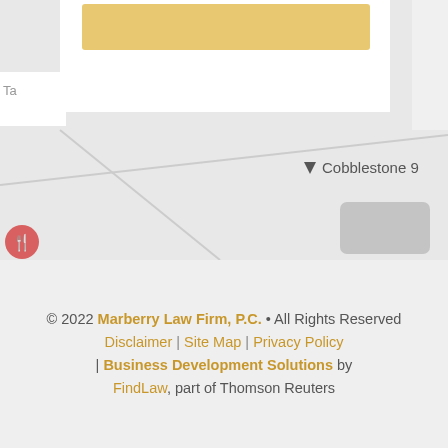[Figure (map): Partial map screenshot showing street layout with a yellow bar (button/link) at top, a location pin labeled 'Cobblestone 9', a restaurant pin icon on the left, and a gray building blob on the right.]
© 2022 Marberry Law Firm, P.C. • All Rights Reserved
Disclaimer | Site Map | Privacy Policy | Business Development Solutions by FindLaw, part of Thomson Reuters